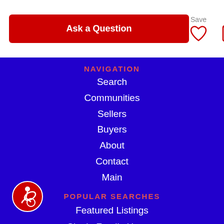Ask a Question
Save
Share
NAVIGATION
Search
Communities
Sellers
Buyers
About
Contact
Main
POPULAR SEARCHES
Featured Listings
Single Family Homes
Condos & Townhomes
Luxury Homes
New Construction